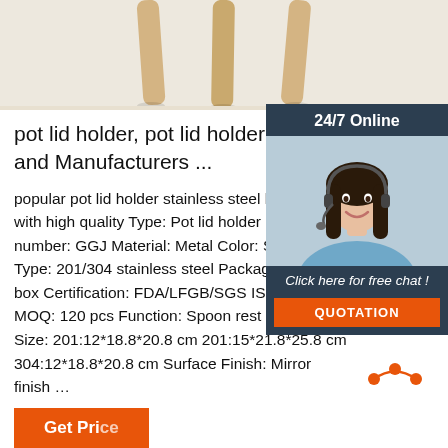[Figure (photo): Product image showing wooden furniture legs on light background, top portion cropped]
pot lid holder, pot lid holder Suppliers and Manufacturers ...
popular pot lid holder stainless steel k... with high quality Type: Pot lid holder It... number: GGJ Material: Metal Color: S... Type: 201/304 stainless steel Packagi... box Certification: FDA/LFGB/SGS ISO... MOQ: 120 pcs Function: Spoon rest k... Size: 201:12*18.8*20.8 cm 201:15*21.8*25.8 cm 304:12*18.8*20.8 cm Surface Finish: Mirror finish ...
[Figure (infographic): 24/7 Online chat widget with customer service representative photo, 'Click here for free chat!' text, and orange QUOTATION button]
[Figure (logo): Orange TOP badge/button with dot crown icon]
[Figure (other): Partially visible orange Get Price button at bottom left]